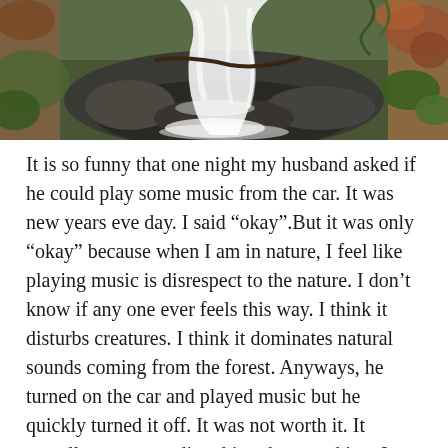[Figure (photo): A waterfall or fast-flowing creek with white rushing water over rocks, surrounded by green ferns, moss-covered stones, and fallen autumn leaves in a forest setting.]
It is so funny that one night my husband asked if he could play some music from the car. It was new years eve day. I said “okay”.But it was only “okay” because when I am in nature, I feel like playing music is disrespect to the nature. I don’t know if any one ever feels this way. I think it disturbs creatures. I think it dominates natural sounds coming from the forest. Anyways, he turned on the car and played music but he quickly turned it off. It was not worth it. It actually was more disturbing than soothing. I said, “there is nothing more soothing than listening to the creek sound, under the tree, listen to trees move”. We laughed.
We had our own drinking water but we did not fully